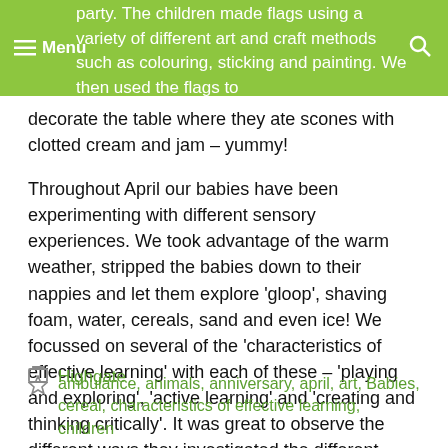party. The children made flags using a variety of different art and craft methods such as colouring, sticking and painting. We then used the flags to decorate the table where they ate scones with clotted cream and jam – yummy!
Throughout April our babies have been experimenting with different sensory experiences. We took advantage of the warm weather, stripped the babies down to their nappies and let them explore 'gloop', shaving foam, water, cereals, sand and even ice! We focussed on several of the 'characteristics of effective learning' with each of these – 'playing and exploring', 'active learning' and 'creating and thinking critically'. It was great to observe the different ways they investigated the different mediums and their textures.
Highgate
ambulance, animals, anniversary, april, art, Babies, cereal, characteristics of effective learning, children